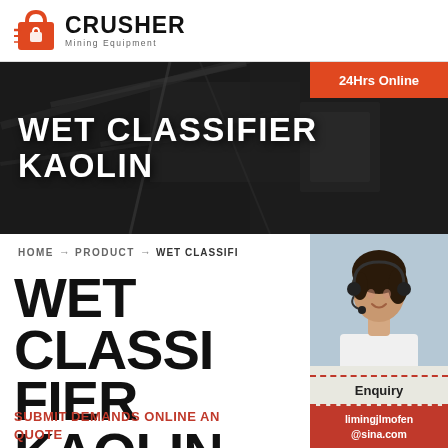[Figure (logo): Crusher Mining Equipment logo with red shopping bag icon and bold CRUSHER text]
[Figure (photo): Industrial mining/crusher equipment background photo with dark overlay and large white text WET CLASSIFIER KAOLIN]
24Hrs Online
HOME → PRODUCT → WET CLASSIFI...
[Figure (photo): Customer service woman with headset smiling]
Need questions & suggestion?
Chat Now
Enquiry
limingjlmofen@sina.com
WET CLASSIFIER KAOLIN
SUBMIT DEMANDS ONLINE AND GET QUOTE